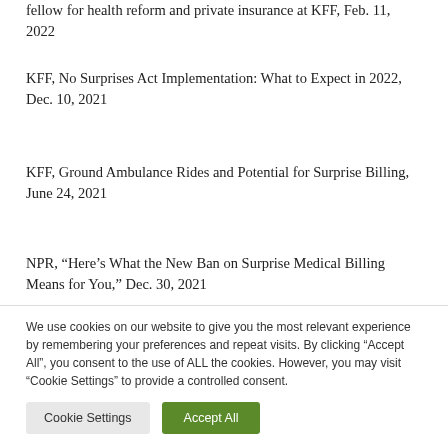fellow for health reform and private insurance at KFF, Feb. 11, 2022
KFF, No Surprises Act Implementation: What to Expect in 2022, Dec. 10, 2021
KFF, Ground Ambulance Rides and Potential for Surprise Billing, June 24, 2021
NPR, “Here’s What the New Ban on Surprise Medical Billing Means for You,” Dec. 30, 2021
We use cookies on our website to give you the most relevant experience by remembering your preferences and repeat visits. By clicking “Accept All”, you consent to the use of ALL the cookies. However, you may visit “Cookie Settings” to provide a controlled consent.